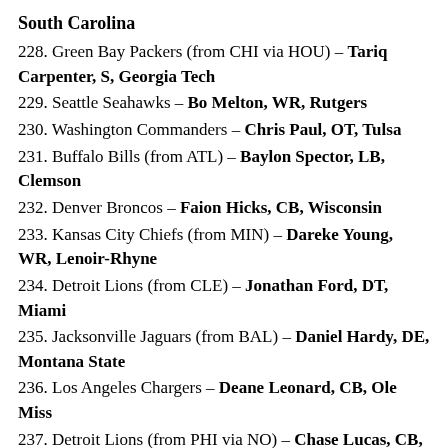South Carolina
228. Green Bay Packers (from CHI via HOU) – Tariq Carpenter, S, Georgia Tech
229. Seattle Seahawks – Bo Melton, WR, Rutgers
230. Washington Commanders – Chris Paul, OT, Tulsa
231. Buffalo Bills (from ATL) – Baylon Spector, LB, Clemson
232. Denver Broncos – Faion Hicks, CB, Wisconsin
233. Kansas City Chiefs (from MIN) – Dareke Young, WR, Lenoir-Rhyne
234. Detroit Lions (from CLE) – Jonathan Ford, DT, Miami
235. Jacksonville Jaguars (from BAL) – Daniel Hardy, DE, Montana State
236. Los Angeles Chargers – Deane Leonard, CB, Ole Miss
237. Detroit Lions (from PHI via NO) – Chase Lucas, CB, Arizona State
238. Los Angeles Rams (from MIA) – Thayer Munford, OT, Ohio State
239. Indianapolis Colts – Rodney Thomas, DB, Yale
240. Washington Commanders (from PHI via IND) – Christian